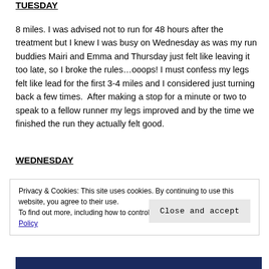TUESDAY
8 miles. I was advised not to run for 48 hours after the treatment but I knew I was busy on Wednesday as was my run buddies Mairi and Emma and Thursday just felt like leaving it too late, so I broke the rules…ooops! I must confess my legs felt like lead for the first 3-4 miles and I considered just turning back a few times.  After making a stop for a minute or two to speak to a fellow runner my legs improved and by the time we finished the run they actually felt good.
WEDNESDAY
Privacy & Cookies: This site uses cookies. By continuing to use this website, you agree to their use.
To find out more, including how to control cookies, see here: Cookie Policy
Close and accept